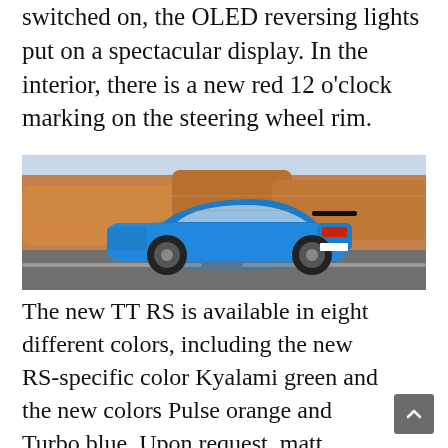switched on, the OLED reversing lights put on a spectacular display. In the interior, there is a new red 12 o'clock marking on the steering wheel rim.
[Figure (photo): Blue Audi TT RS coupe driving on a road with rocky desert terrain in the background, motion-blurred background, rear three-quarter view.]
The new TT RS is available in eight different colors, including the new RS-specific color Kyalami green and the new colors Pulse orange and Turbo blue. Upon request, matt aluminum and gloss black styling packages highlight the bodywork and interior. The d